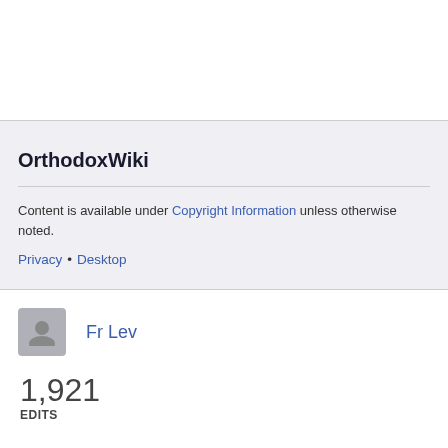OrthodoxWiki
Content is available under Copyright Information unless otherwise noted.
Privacy • Desktop
Fr Lev
1,921
EDITS